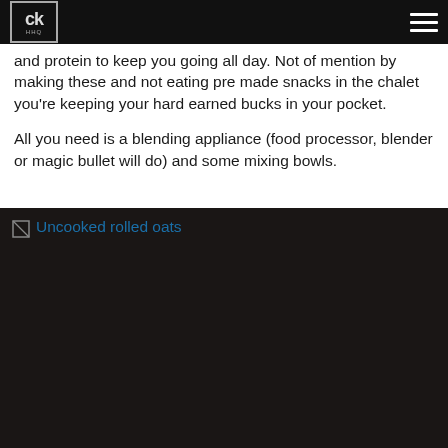CK HHQ
and protein to keep you going all day. Not of mention by making these and not eating pre made snacks in the chalet you're keeping your hard earned bucks in your pocket.
All you need is a blending appliance (food processor, blender or magic bullet will do) and some mixing bowls.
[Figure (photo): Broken/missing image placeholder showing 'Uncooked rolled oats' alt text on a dark background]